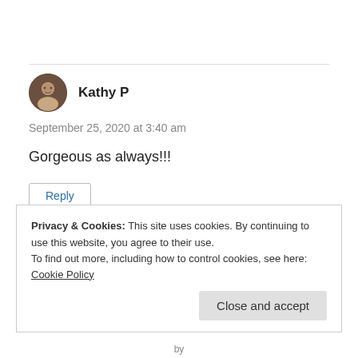Kathy P
September 25, 2020 at 3:40 am
Gorgeous as always!!!
Reply
Privacy & Cookies: This site uses cookies. By continuing to use this website, you agree to their use.
To find out more, including how to control cookies, see here:
Cookie Policy
Close and accept
by